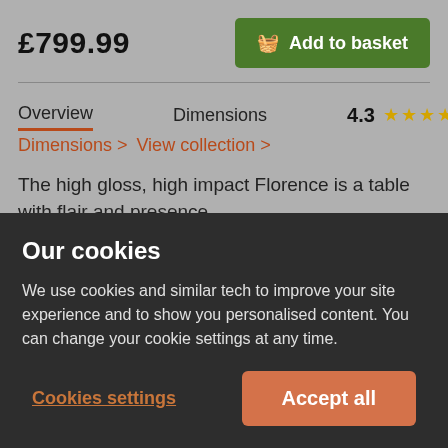£799.99
Add to basket
Overview
Dimensions
4.3 ★★★★☆ (12)
Dimensions > View collection >
The high gloss, high impact Florence is a table with flair and presence.
An imposing, weighty table top sits on an architectural pedestal base with minimal stainless steel feet. Its
Our cookies
We use cookies and similar tech to improve your site experience and to show you personalised content. You can change your cookie settings at any time.
Cookies settings
Accept all